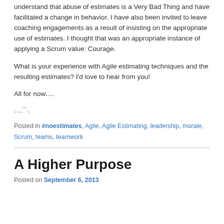understand that abuse of estimates is a Very Bad Thing and have facilitated a change in behavior. I have also been invited to leave coaching engagements as a result of insisting on the appropriate use of estimates. I thought that was an appropriate instance of applying a Scrum value: Courage.
What is your experience with Agile estimating techniques and the resulting estimates? I'd love to hear from you!
All for now….
….¯·.
Posted in #noestimates, Agile, Agile Estimating, leadership, morale, Scrum, teams, teamwork
A Higher Purpose
Posted on September 6, 2013